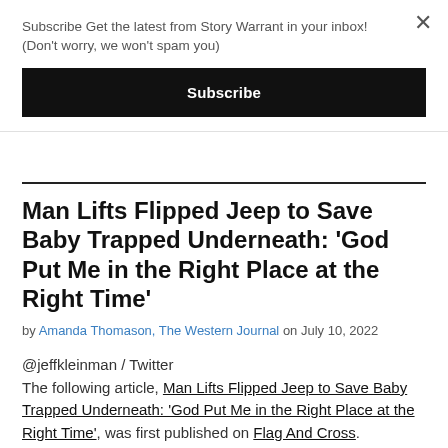Subscribe Get the latest from Story Warrant in your inbox! (Don't worry, we won't spam you)
Subscribe
Man Lifts Flipped Jeep to Save Baby Trapped Underneath: 'God Put Me in the Right Place at the Right Time'
by Amanda Thomason, The Western Journal on July 10, 2022
@jeffkleinman / Twitter
The following article, Man Lifts Flipped Jeep to Save Baby Trapped Underneath: 'God Put Me in the Right Place at the Right Time', was first published on Flag And Cross.
Traffic is always a bit dicey on the Fourth of July. More people than ever are out on the road getting to